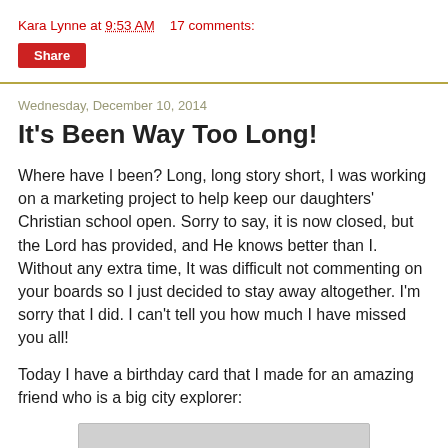Kara Lynne at 9:53 AM   17 comments:
Share
Wednesday, December 10, 2014
It's Been Way Too Long!
Where have I been?  Long, long story short, I was working on a marketing project to help keep our daughters' Christian school open.  Sorry to say, it is now closed, but the Lord has provided, and He knows better than I.  Without any extra time, It was difficult not commenting on your boards so I just decided to stay away altogether.  I'm sorry that I did. I can't tell you how much I have missed you all!
Today I have a birthday card that I made for an amazing friend who is a big city explorer:
[Figure (photo): Partial view of a birthday card image, cropped at bottom of page]